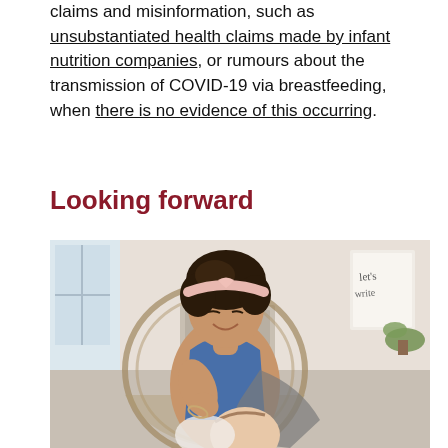claims and misinformation, such as unsubstantiated health claims made by infant nutrition companies, or rumours about the transmission of COVID-19 via breastfeeding, when there is no evidence of this occurring.
Looking forward
[Figure (photo): A smiling woman with curly hair and a pink headband breastfeeding a baby while sitting in a wicker chair in a bright room.]